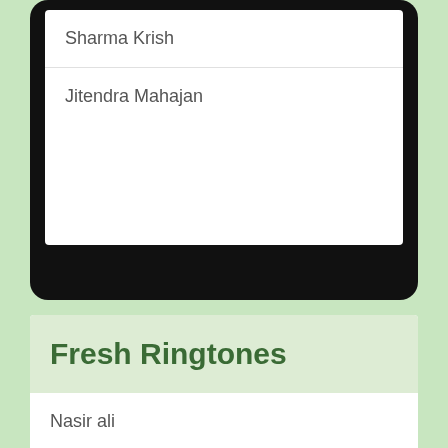Sharma Krish
Jitendra Mahajan
Fresh Ringtones
Nasir ali
Naeem Bhatti
Lalu Bhai Panchal
Krishna Audrey Santos Johnson
Sundaram Kumar